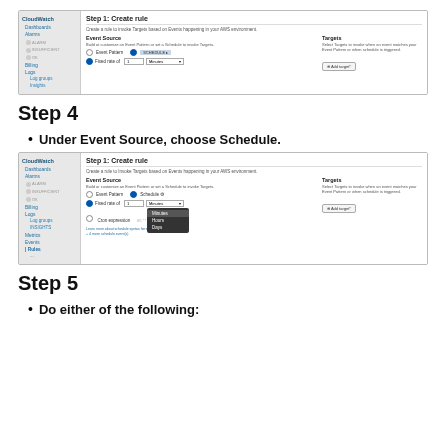[Figure (screenshot): AWS CloudWatch console screenshot showing Step 1: Create rule with Event Source section. Event Pattern and Schedule radio buttons visible, Fixed rate of 1 Minutes selected with dropdown.]
Step 4
Under Event Source, choose Schedule.
[Figure (screenshot): AWS CloudWatch console screenshot showing Step 1: Create rule with Schedule selected under Event Source. A dropdown showing Minutes, Hours, Days options is visible.]
Step 5
Do either of the following: